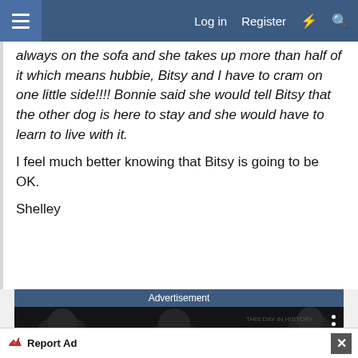Log in  Register
always on the sofa and she takes up more than half of it which means hubbie, Bitsy and I have to cram on one little side!!!! Bonnie said she would tell Bitsy that the other dog is here to stay and she would have to learn to live with it.

I feel much better knowing that Bitsy is going to be OK.

Shelley
Advertisement
[Figure (screenshot): Video thumbnail showing black and white historical photo with text 'THIS DAY IN HISTORY']
Report Ad